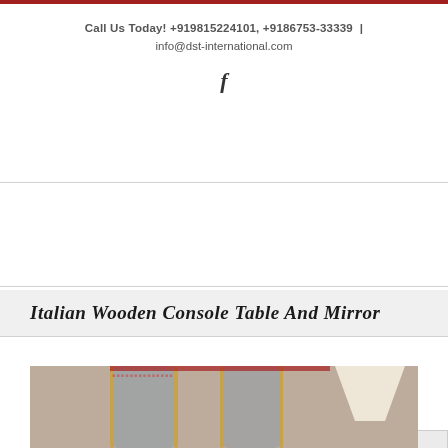Call Us Today! +919815224101, +9186753-33339 | info@dst-international.com
f
Go to...
Italian Wooden Console Table And Mirror
[Figure (photo): Partial view of an Italian wooden console table and mirror with ornate gold-toned frame, shown against a patterned wallpaper background with a white lamp shade visible on the right.]